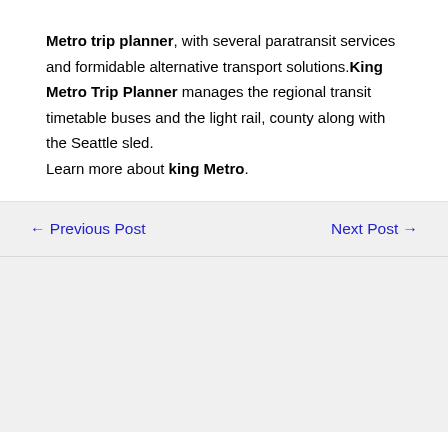Metro trip planner, with several paratransit services and formidable alternative transport solutions.King Metro Trip Planner manages the regional transit timetable buses and the light rail, county along with the Seattle sled. Learn more about king Metro.
← Previous Post   Next Post →